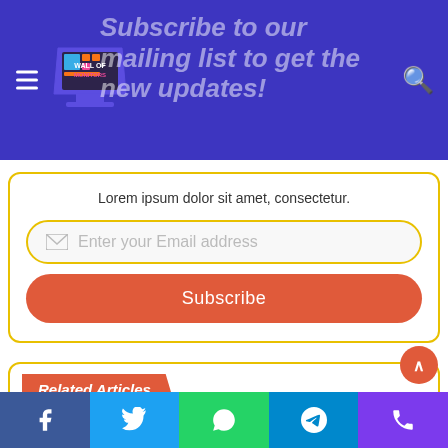Subscribe to our mailing list to get the new updates!
Lorem ipsum dolor sit amet, consectetur.
Enter your Email address
Subscribe
Related Articles
[Figure (photo): Slot machine arcade room with colorful gaming machines]
[Figure (photo): Colorful cartoon-style slot game with PG branding]
Facebook | Twitter | WhatsApp | Telegram | Phone